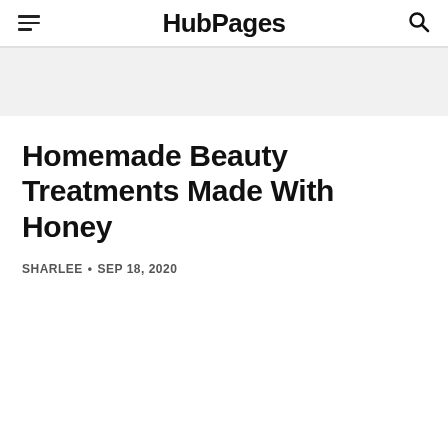HubPages
Homemade Beauty Treatments Made With Honey
SHARLEE • SEP 18, 2020